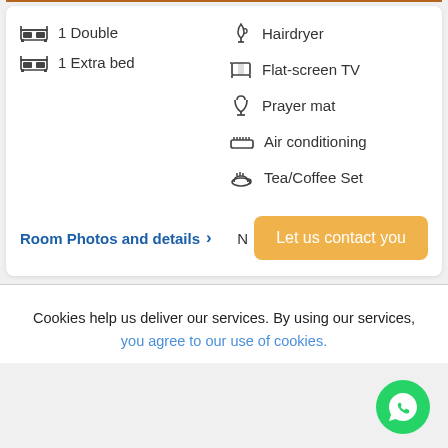1 Double
1 Extra bed
Hairdryer
Flat-screen TV
Prayer mat
Air conditioning
Tea/Coffee Set
Room Photos and details >
N  Let us contact you
Cookies help us deliver our services. By using our services, you agree to our use of cookies.